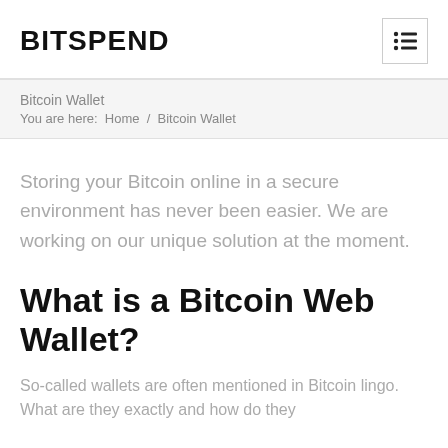BITSPEND
Bitcoin Wallet
You are here:  Home  /  Bitcoin Wallet
Storing your Bitcoin online in a secure environment has never been easier. We are working on our unique solution at the moment.
What is a Bitcoin Web Wallet?
So-called wallets are often mentioned in Bitcoin lingo. What are they exactly and how do they